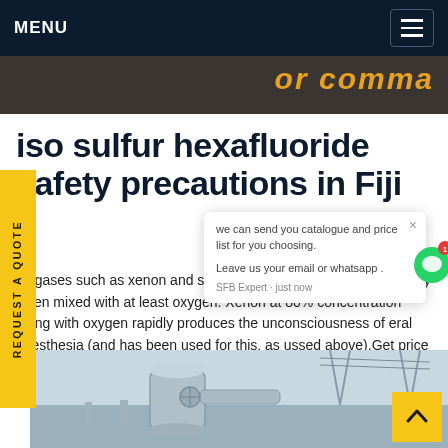MENU
[Figure (photo): Dark top image strip with orange italic text partially visible reading 'or Comma' or similar]
iso sulfur hexafluoride safety precautions in Fiji
se gases such as xenon and sulfur hexafluoride be breathed safely when mixed with at least oxygen. Xenon at 80% concentration along with oxygen rapidly produces the unconsciousness of eral anesthesia (and has been used for this, as ussed above).Get price
[Figure (screenshot): Chat popup overlay saying: we can send you catalogue and price list for you choosing. Leave us your email or whatsapp. SFB Expert - just now. With chat icon showing notification badge with 1.]
[Figure (photo): Industrial electrical substation with large gray cylindrical equipment, cables, and transmission towers in background]
REQUEST A QUOTE